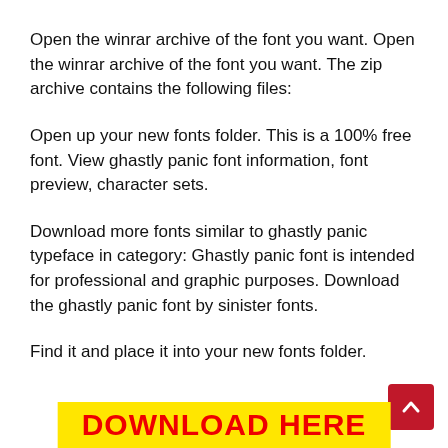Open the winrar archive of the font you want. Open the winrar archive of the font you want. The zip archive contains the following files:
Open up your new fonts folder. This is a 100% free font. View ghastly panic font information, font preview, character sets.
Download more fonts similar to ghastly panic typeface in category: Ghastly panic font is intended for professional and graphic purposes. Download the ghastly panic font by sinister fonts.
Find it and place it into your new fonts folder.
[Figure (other): Red scroll-to-top button with upward chevron arrow on right side]
DOWNLOAD HERE